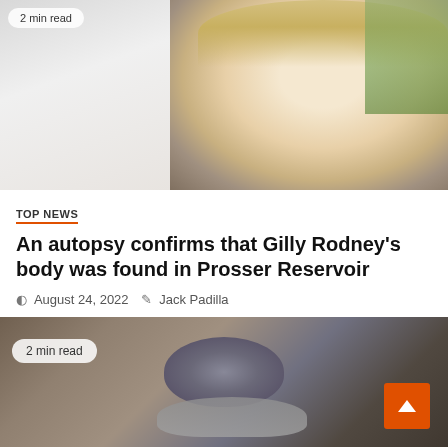[Figure (photo): Photo of a young blonde woman smiling, wearing a dark tank top with a necklace, outdoors near water and trees. Badge overlay: '2 min read'.]
TOP NEWS
An autopsy confirms that Gilly Rodney's body was found in Prosser Reservoir
August 24, 2022   Jack Padilla
[Figure (photo): Close-up photo of a turtle or similar animal being held, dark blurry background. Badge overlay: '2 min read'.]